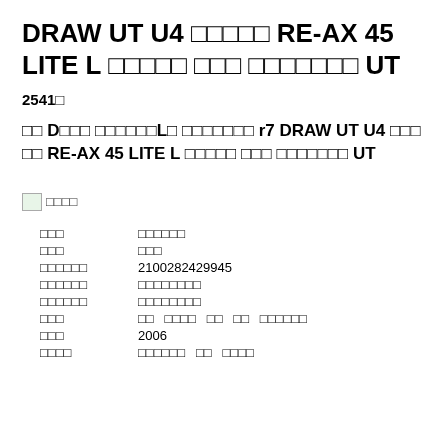DRAW UT U4 □□□□□ RE-AX 45 LITE L □□□□□ □□□ □□□□□□□ UT
2541□
□□ D□□□ □□□□□□L□ □□□□□□□ r7 DRAW UT U4 □□□ □□ RE-AX 45 LITE L □□□□□ □□□ □□□□□□□ UT
[Figure (photo): Broken image placeholder with thumbnail icon and Thai/unknown script label]
| □□□ | □□□□□□ |
| □□□ | □□□ |
| □□□□□□ | 2100282429945 |
| □□□□□□ | □□□□□□□□ |
| □□□□□□ | □□□□□□□□ |
| □□□ | □□  □□□□  □□  □□  □□□□□□ |
| □□□ | 2006 |
| □□□□ | □□□□□□  □□  □□□□ |